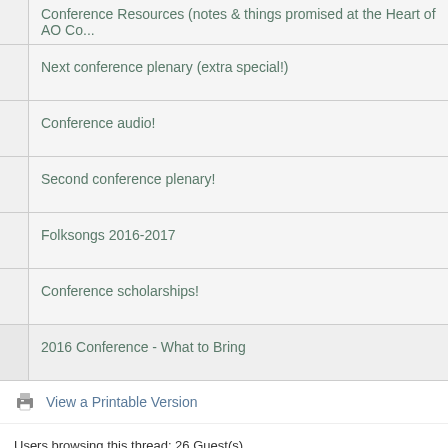| Conference Resources (notes & things promised at the Heart of AO Co... |
| Next conference plenary (extra special!) |
| Conference audio! |
| Second conference plenary! |
| Folksongs 2016-2017 |
| Conference scholarships! |
| 2016 Conference - What to Bring |
View a Printable Version
Users browsing this thread: 26 Guest(s)
Forum Team  Contact Us  AmblesideOnline  Return to Top  Lite (Archive) Mo...
Powered By MyBB, © 2002-2022 MyBB Group.